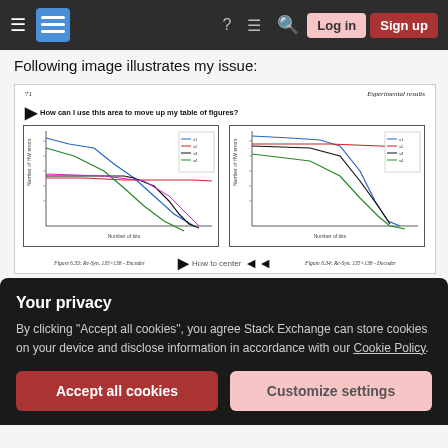Stack Exchange navigation bar with hamburger menu, logo, help, chat, search icons, Log in and Sign up buttons
Following image illustrates my issue:
[Figure (screenshot): A screenshot of a LaTeX document page showing page number 71, header 'Experimental results', an annotation arrow with text 'How can I use this area to move up my table of figures?', two line charts side by side showing curves plotted on log-scale axes labeled 'Number of bits' on x-axis and 'Number of HW errors' on y-axis, with legends, and figure captions below reading 'Figure 6.33: Re-Syn. 135x138 - Encoder' and 'Figure 6.34: Re-Syn. 135x138 - Decoder' with overlaid annotation arrows asking 'How to center captions?']
Your privacy
By clicking "Accept all cookies", you agree Stack Exchange can store cookies on your device and disclose information in accordance with our Cookie Policy.
Accept all cookies
Customize settings